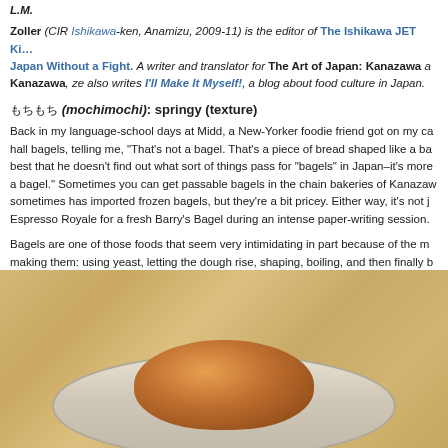L.M.
Zoller (CIR Ishikawa-ken, Anamizu, 2009-11) is the editor of The Ishikawa JET Kitchen and Japan Without a Fight. A writer and translator for The Art of Japan: Kanazawa and Kanazawa, ze also writes I'll Make It Myself!, a blog about food culture in Japan.
もちもち (mochimochi): springy (texture)
Back in my language-school days at Midd, a New-Yorker foodie friend got on my case about the dining hall bagels, telling me, "That's not a bagel. That's a piece of bread shaped like a bagel." It's probably best that he doesn't find out what sort of things pass for "bagels" in Japan–it's more like "bread vaguely shaped like a bagel." Sometimes you can get passable bagels in the chain bakeries of Kanazawa, and Meidi-ya sometimes has imported frozen bagels, but they're a bit pricey. Either way, it's not j walking over to Espresso Royale for a fresh Barry's Bagel during an intense paper-writing session.
Bagels are one of those foods that seem very intimidating in part because of the multiple steps involved in making them: using yeast, letting the dough rise, shaping, boiling, and then finally baking. Also in part because you really never need to make them in the US when they're so widely ava
[Figure (photo): Photo of a bagel in a white bowl on a wooden table surface]